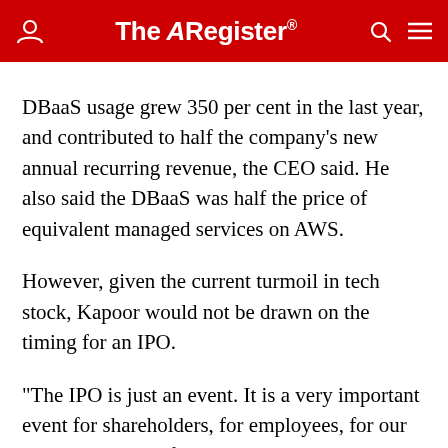The Register
DBaaS usage grew 350 per cent in the last year, and contributed to half the company's new annual recurring revenue, the CEO said. He also said the DBaaS was half the price of equivalent managed services on AWS.
However, given the current turmoil in tech stock, Kapoor would not be drawn on the timing for an IPO.
"The IPO is just an event. It is a very important event for shareholders, for employees, for our customers, [and] for developers that use our products because it is a great event for them to see how their bet on DataStax is paying off. But we're creating a durable company for a long period of time. We will do it when it makes sense but we're not going to rush into it. If it makes sense and